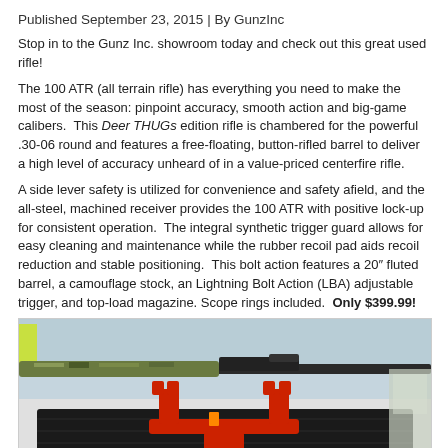Published September 23, 2015 | By GunzInc
Stop in to the Gunz Inc. showroom today and check out this great used rifle!
The 100 ATR (all terrain rifle) has everything you need to make the most of the season: pinpoint accuracy, smooth action and big-game calibers.  This Deer THUGs edition rifle is chambered for the powerful .30-06 round and features a free-floating, button-rifled barrel to deliver a high level of accuracy unheard of in a value-priced centerfire rifle.
A side lever safety is utilized for convenience and safety afield, and the all-steel, machined receiver provides the 100 ATR with positive lock-up for consistent operation.  The integral synthetic trigger guard allows for easy cleaning and maintenance while the rubber recoil pad aids recoil reduction and stable positioning.  This bolt action features a 20″ fluted barrel, a camouflage stock, an Lightning Bolt Action (LBA) adjustable trigger, and top-load magazine. Scope rings included.  Only $399.99!
[Figure (photo): Photo of a rifle with camouflage stock mounted on a red gun rest/cradle on a Smith & Wesson branded mat, taken in a gun shop showroom.]